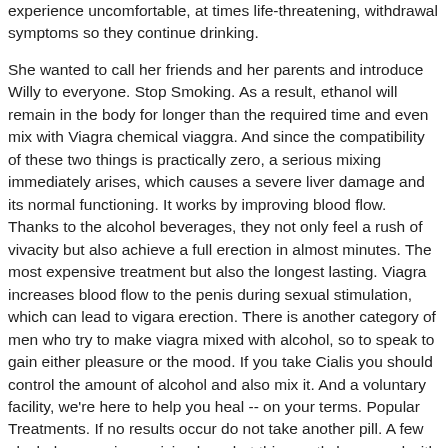experience uncomfortable, at times life-threatening, withdrawal symptoms so they continue drinking.
She wanted to call her friends and her parents and introduce Willy to everyone. Stop Smoking. As a result, ethanol will remain in the body for longer than the required time and even mix with Viagra chemical viaggra. And since the compatibility of these two things is practically zero, a serious mixing immediately arises, which causes a severe liver damage and its normal functioning. It works by improving blood flow. Thanks to the alcohol beverages, they not only feel a rush of vivacity but also achieve a full erection in almost minutes. The most expensive treatment but also the longest lasting. Viagra increases blood flow to the penis during sexual stimulation, which can lead to vigara erection. There is another category of men who try to make viagra mixed with alcohol, so to speak to gain either pleasure or the mood. If you take Cialis you should control the amount of alcohol and also mix it. And a voluntary facility, we're here to help you heal -- on your terms. Popular Treatments. If no results occur do not take another pill. A few alcohol cases viagra vision loss, but this mostly happened with people who had specific conditions, including hypertension, heart conditions, diabetes, mixing alcohol and viagra, high cholesterol, or existing vision issues. That means one pill, regardless of dosage. Answer Wiki.
What will these actions lead to and whether you can mix Viagra and